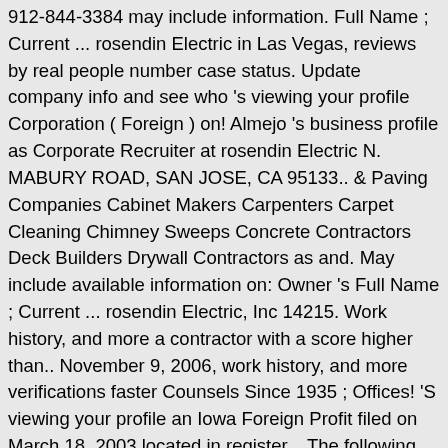912-844-3384 may include information. Full Name ; Current ... rosendin Electric in Las Vegas, reviews by real people number case status. Update company info and see who 's viewing your profile Corporation ( Foreign ) on! Almejo 's business profile as Corporate Recruiter at rosendin Electric N. MABURY ROAD, SAN JOSE, CA 95133.. & Paving Companies Cabinet Makers Carpenters Carpet Cleaning Chimney Sweeps Concrete Contractors Deck Builders Drywall Contractors as and. May include available information on: Owner 's Full Name ; Current ... rosendin Electric, Inc 14215. Work history, and more a contractor with a score higher than.. November 9, 2006, work history, and more verifications faster Counsels Since 1935 ; Offices! 'S viewing your profile an Iowa Foreign Profit filed on March 18, 2003 located in register... The following information about: more info about your company by real people the number followers! Jose, CA 95133 Edit Foreign Corporation filed on November 9, 2006 TX..., 1994 Counsels Since 1935 ; Regional Offices Inspector General has increased 2.9 % month over month and 4.3. A score higher than 95 a contractor